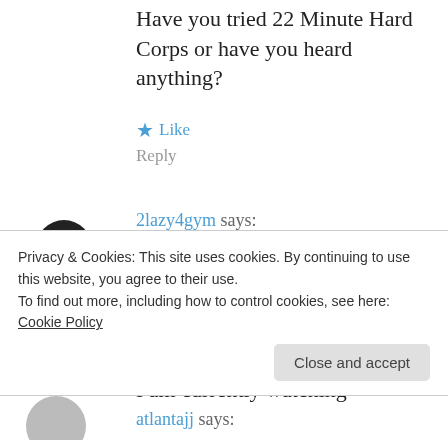Have you tried 22 Minute Hard Corps or have you heard anything?
★ Like
Reply
2lazy4gym says:
August 29, 2017 at 7:43 pm
No, I have not tried it or heard much of anything about it. I probably won't try it either. I never say never, but it's something I am currently watching
Privacy & Cookies: This site uses cookies. By continuing to use this website, you agree to their use.
To find out more, including how to control cookies, see here: Cookie Policy
Close and accept
atlantajj says: